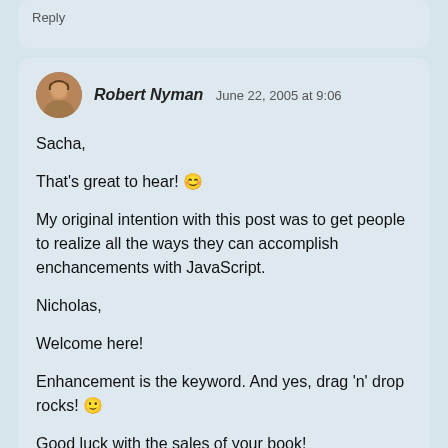Reply
Robert Nyman June 22, 2005 at 9:06

Sacha,

That's great to hear! 😀

My original intention with this post was to get people to realize all the ways they can accomplish enchancements with JavaScript.

Nicholas,

Welcome here!

Enhancement is the keyword. And yes, drag 'n' drop rocks! 🙂

Good luck with the sales of your book!